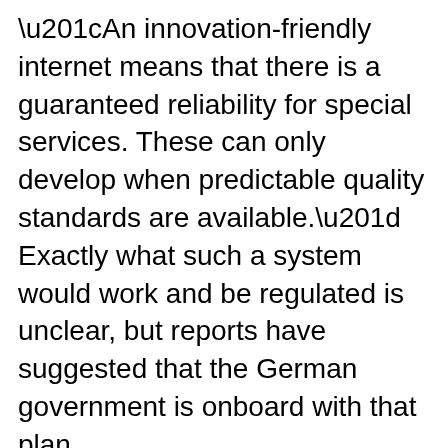“An innovation-friendly internet means that there is a guaranteed reliability for special services. These can only develop when predictable quality standards are available.” Exactly what such a system would work and be regulated is unclear, but reports have suggested that the German government is onboard with that plan.